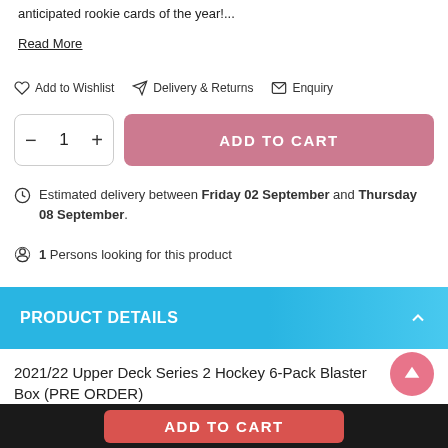anticipated rookie cards of the year!...
Read More
Add to Wishlist   Delivery & Returns   Enquiry
ADD TO CART (quantity 1)
Estimated delivery between Friday 02 September and Thursday 08 September.
1 Persons looking for this product
PRODUCT DETAILS
2021/22 Upper Deck Series 2 Hockey 6-Pack Blaster Box (PRE ORDER)
Series 2 features the next 250 cards of the 2021-22 Upper Deck
ADD TO CART